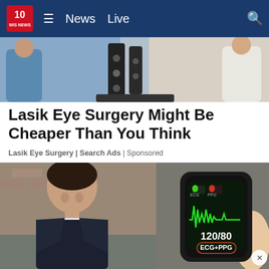10 WIS NEWS — News | Live
[Figure (photo): Medical/clinical setting photo showing persons in blue and white lab coats with dark equipment in center, cropped top portion]
Lasik Eye Surgery Might Be Cheaper Than You Think
Lasik Eye Surgery | Search Ads | Sponsored
[Figure (photo): Split image: left side shows a smiling man in dark suit jacket in an office/lounge setting with brick wall; right side shows a smartwatch/fitness device displaying ECG+PPG reading of 120/80 with green waveform, held by a person's thumb]